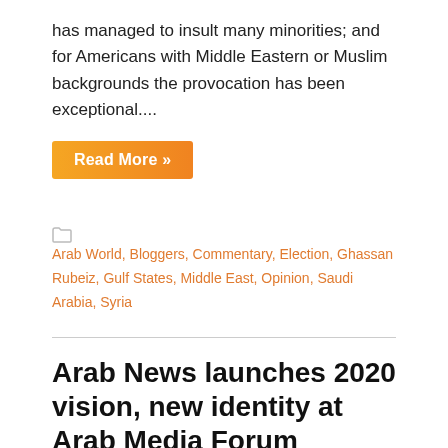has managed to insult many minorities; and for Americans with Middle Eastern or Muslim backgrounds the provocation has been exceptional....
Read More »
Arab World, Bloggers, Commentary, Election, Ghassan Rubeiz, Gulf States, Middle East, Opinion, Saudi Arabia, Syria
Arab News launches 2020 vision, new identity at Arab Media Forum
April 4, 2018   rayhanania   No Comments